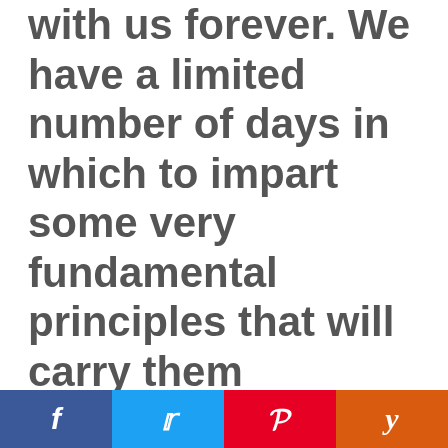with us forever. We have a limited number of days in which to impart some very fundamental principles that will carry them throughout their lives. We don't take parenting lightly.
Our children have been gifted
[Figure (other): Social media sharing bar with Facebook (blue), Twitter (light blue), Pinterest (red), and Yummly (orange) buttons]